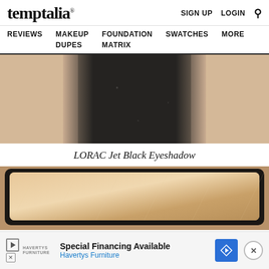temptalia® | SIGN UP  LOGIN  🔍
REVIEWS  MAKEUP DUPES  FOUNDATION MATRIX  SWATCHES  MORE
[Figure (photo): Close-up swatch photo of a dark black eyeshadow blended onto a fair skin forearm, with a large dark strip in the center fading at the edges against a warm beige skin background.]
LORAC Jet Black Eyeshadow
[Figure (photo): Close-up photo of a champagne/nude shimmer eyeshadow pan in a black compact case, showing the pressed shimmer powder surface from above.]
Special Financing Available | Havertys Furniture (advertisement)